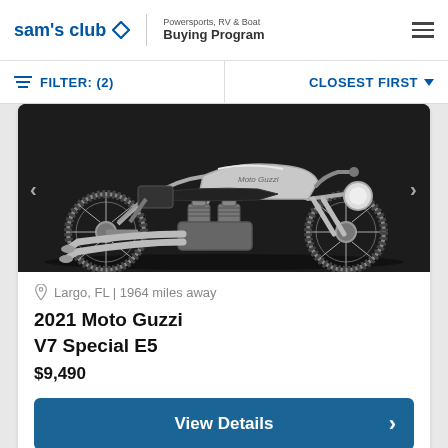sam's club Powersports, RV & Boat Buying Program
FILTER: (2)   CLOSEST FIRST
[Figure (photo): Side view of a 2021 Moto Guzzi V7 Special E5 motorcycle in silver/grey color on a dark background, with chrome exhaust pipes and spoke wheels]
Largo, FL | 1964 miles away
2021 Moto Guzzi V7 Special E5
$9,490
View Details